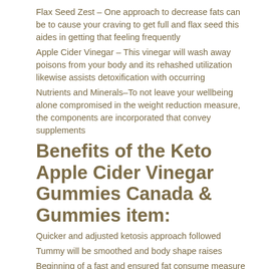Flax Seed Zest – One approach to decrease fats can be to cause your craving to get full and flax seed this aides in getting that feeling frequently
Apple Cider Vinegar – This vinegar will wash away poisons from your body and its rehashed utilization likewise assists detoxification with occurring
Nutrients and Minerals–To not leave your wellbeing alone compromised in the weight reduction measure, the components are incorporated that convey supplements
Benefits of the Keto Apple Cider Vinegar Gummies Canada & Gummies item:
Quicker and adjusted ketosis approach followed
Tummy will be smoothed and body shape raises
Beginning of a fast and ensured fat consume measure